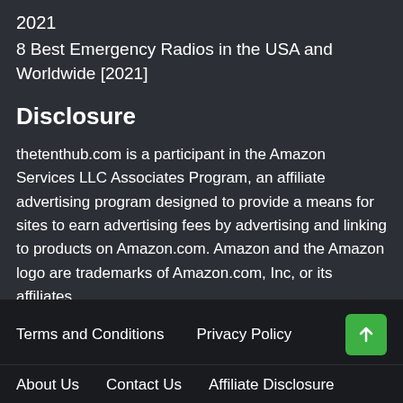2021
8 Best Emergency Radios in the USA and Worldwide [2021]
Disclosure
thetenthub.com is a participant in the Amazon Services LLC Associates Program, an affiliate advertising program designed to provide a means for sites to earn advertising fees by advertising and linking to products on Amazon.com. Amazon and the Amazon logo are trademarks of Amazon.com, Inc, or its affiliates.
Terms and Conditions  Privacy Policy  About Us  Contact Us  Affiliate Disclosure